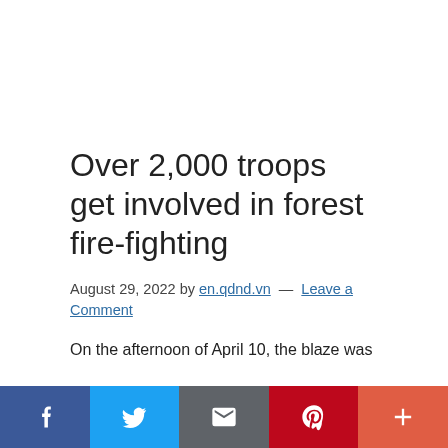Over 2,000 troops get involved in forest fire-fighting
August 29, 2022 by en.qdnd.vn — Leave a Comment
On the afternoon of April 10, the blaze was